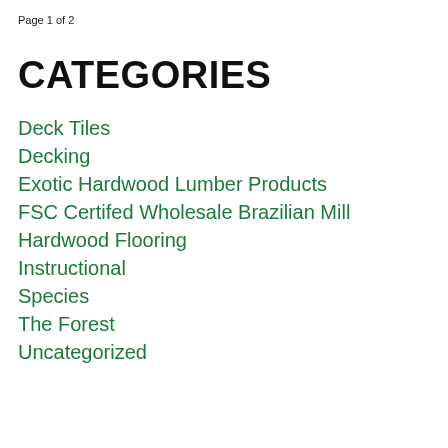Page 1 of 2
CATEGORIES
Deck Tiles
Decking
Exotic Hardwood Lumber Products
FSC Certifed Wholesale Brazilian Mill
Hardwood Flooring
Instructional
Species
The Forest
Uncategorized